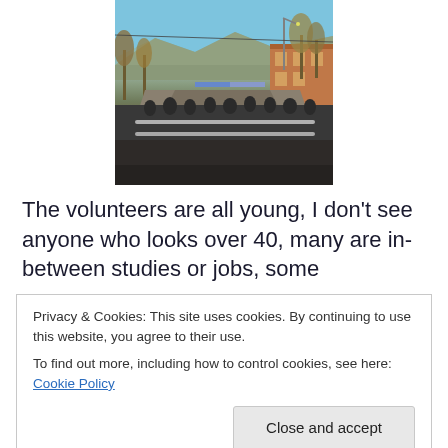[Figure (photo): Outdoor street scene with people gathered and waiting behind metal barriers on a sunny day. Trees with autumn leaves visible, mountains in background, blue sky. Appears to be a public event or checkpoint.]
The volunteers are all young, I don't see anyone who looks over 40, many are in-between studies or jobs, some
Privacy & Cookies: This site uses cookies. By continuing to use this website, you agree to their use.
To find out more, including how to control cookies, see here: Cookie Policy
Close and accept
priority has come to mean being 8.5 months pregnant and